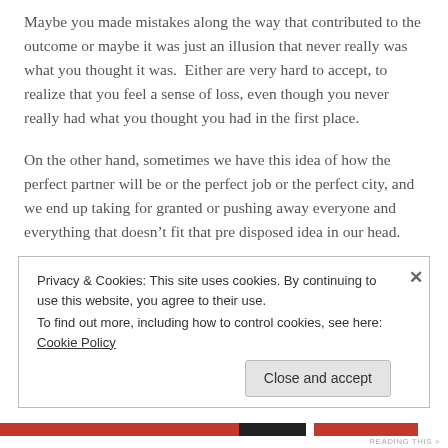Maybe you made mistakes along the way that contributed to the outcome or maybe it was just an illusion that never really was what you thought it was.  Either are very hard to accept, to realize that you feel a sense of loss, even though you never really had what you thought you had in the first place.
On the other hand, sometimes we have this idea of how the perfect partner will be or the perfect job or the perfect city, and we end up taking for granted or pushing away everyone and everything that doesn’t fit that pre disposed idea in our head.
Privacy & Cookies: This site uses cookies. By continuing to use this website, you agree to their use.
To find out more, including how to control cookies, see here: Cookie Policy